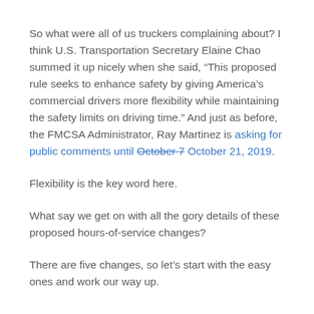So what were all of us truckers complaining about? I think U.S. Transportation Secretary Elaine Chao summed it up nicely when she said, “This proposed rule seeks to enhance safety by giving America’s commercial drivers more flexibility while maintaining the safety limits on driving time.” And just as before, the FMCSA Administrator, Ray Martinez is asking for public comments until October 7 October 21, 2019.
Flexibility is the key word here.
What say we get on with all the gory details of these proposed hours-of-service changes?
There are five changes, so let’s start with the easy ones and work our way up.